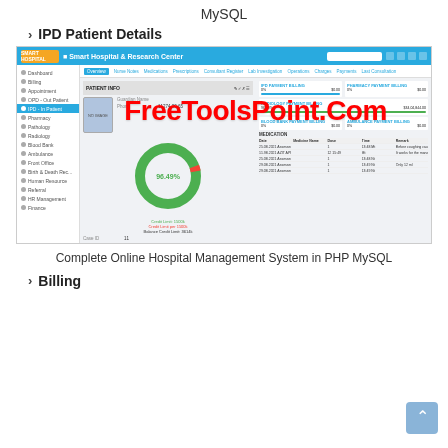MySQL
› IPD Patient Details
[Figure (screenshot): Screenshot of Smart Hospital & Research Center web application showing IPD In-Patient details page with patient info, donut chart, billing sections, medication table, and watermark text 'FreeToolsPoint.Com']
Complete Online Hospital Management System in PHP MySQL
› Billing